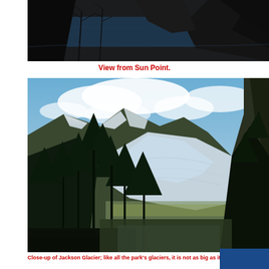[Figure (photo): Panoramic view of a dark mountain lake with cliffs and bare trees, taken from Sun Point viewpoint. Dark silhouettes of rocky cliffs and dead trees against a calm lake.]
View from Sun Point.
[Figure (photo): Close-up of Jackson Glacier in Glacier National Park, showing a snow and ice-covered glacier between forested mountain slopes under a partly cloudy blue sky. Tall evergreen trees in the foreground silhouette against the bright glacier and mountains.]
Close-up of Jackson Glacier; like all the park's glaciers, it is not as big as it used to be.
The following morning we drove the full length of the